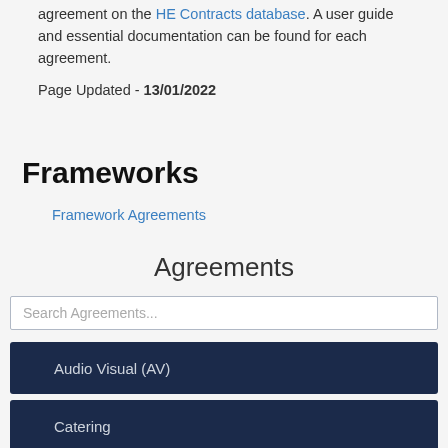agreement on the HE Contracts database. A user guide and essential documentation can be found for each agreement.
Page Updated - 13/01/2022
Frameworks
Framework Agreements
Agreements
Search Agreements...
Audio Visual (AV)
Catering
Estates & Facilities Management